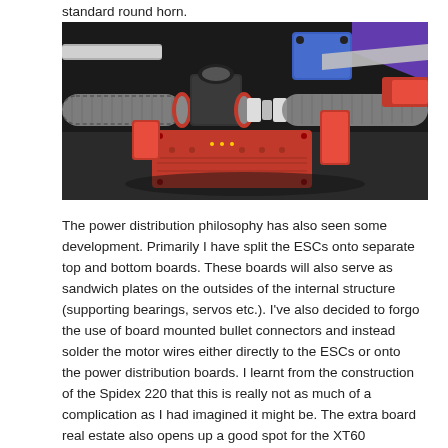standard round horn.
[Figure (photo): 3D render or CAD image of a drone/quadcopter motor mount assembly showing carbon fiber tubes, red aluminum clamps, black motor mount, blue and purple structural components, and a red PCB power distribution board.]
The power distribution philosophy has also seen some development. Primarily I have split the ESCs onto separate top and bottom boards. These boards will also serve as sandwich plates on the outsides of the internal structure (supporting bearings, servos etc.). I've also decided to forgo the use of board mounted bullet connectors and instead solder the motor wires either directly to the ESCs or onto the power distribution boards. I learnt from the construction of the Spidex 220 that this is really not as much of a complication as I had imagined it might be. The extra board real estate also opens up a good spot for the XT60 connector, the battery wire would loop around and in on itself to connect.